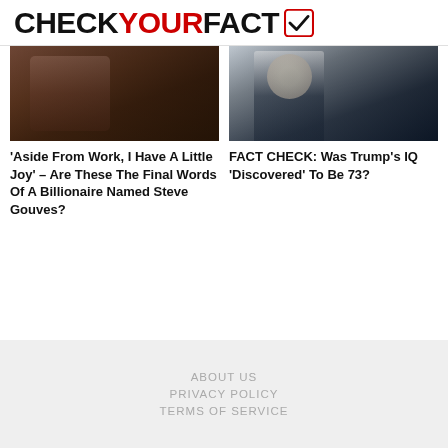CHECKYOURFACT
[Figure (photo): Cropped photo with dark brown tones, appears to show a person in dark clothing]
[Figure (photo): Photo of a man in a dark suit with a light tie, arms crossed, American flag pin visible]
'Aside From Work, I Have A Little Joy' – Are These The Final Words Of A Billionaire Named Steve Gouves?
FACT CHECK: Was Trump's IQ 'Discovered' To Be 73?
ABOUT US
PRIVACY POLICY
TERMS OF SERVICE